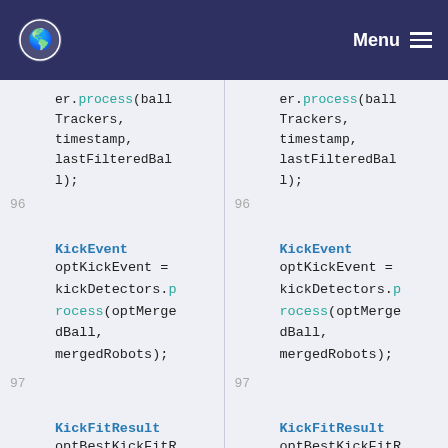Menu
er.process(ballTrackers, timestamp, lastFilteredBall);
96
KickEvent optKickEvent = kickDetectors.process(optMergedBall, mergedRobots);
97
KickFitResult optBestKickFitResult = kickEstimators.process(optKick